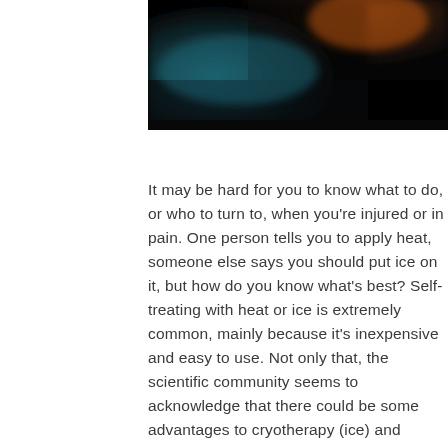[Figure (photo): A dark, blurred photograph showing what appears to be a medical or industrial scene with blue and orange tones, mostly dark background with blurred light elements.]
It may be hard for you to know what to do, or who to turn to, when you're injured or in pain. One person tells you to apply heat, someone else says you should put ice on it, but how do you know what's best? Self-treating with heat or ice is extremely common, mainly because it's inexpensive and easy to use. Not only that, the scientific community seems to acknowledge that there could be some advantages to cryotherapy (ice) and thermotherapy (heat). However, some are saying it may not be worth it. Some even